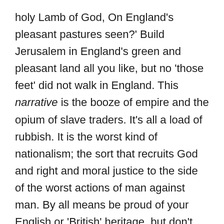holy Lamb of God, On England's pleasant pastures seen?' Build Jerusalem in England's green and pleasant land all you like, but no 'those feet' did not walk in England. This narrative is the booze of empire and the opium of slave traders. It's all a load of rubbish. It is the worst kind of nationalism; the sort that recruits God and right and moral justice to the side of the worst actions of man against man. By all means be proud of your English or 'British' heritage, but don't use your poisonous myths and constructed mythical-religious narratives to pretend to be the adult and us the drunken feckless louts. Pull the sceptre